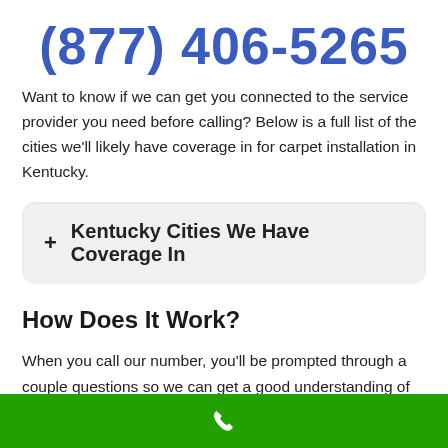(877) 406-5265
Want to know if we can get you connected to the service provider you need before calling? Below is a full list of the cities we’ll likely have coverage in for carpet installation in Kentucky.
+ Kentucky Cities We Have Coverage In
How Does It Work?
When you call our number, you’ll be prompted through a couple questions so we can get a good understanding of exactly what you’re looking for. For starters, we’ll need to know your zip code to pinpoint the best local service provider near you.
[Figure (other): Green footer bar with white phone icon]